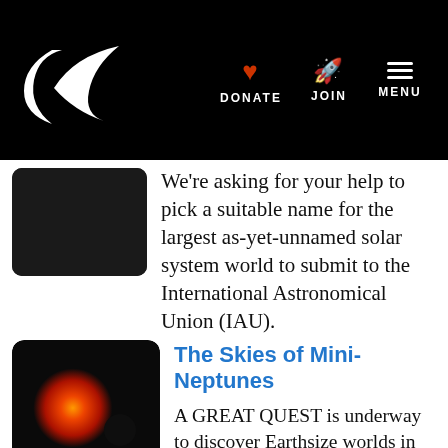Planetary Society navigation bar with DONATE, JOIN, MENU links
We're asking for your help to pick a suitable name for the largest as-yet-unnamed solar system world to submit to the International Astronomical Union (IAU).
The Skies of Mini-Neptunes
A GREAT QUEST is underway to discover Earthsize worlds in their stars' habitable zones. Along the way, astronomers have been surprised to learn that the most typical size of planet in our galaxy is one with no counterpart in